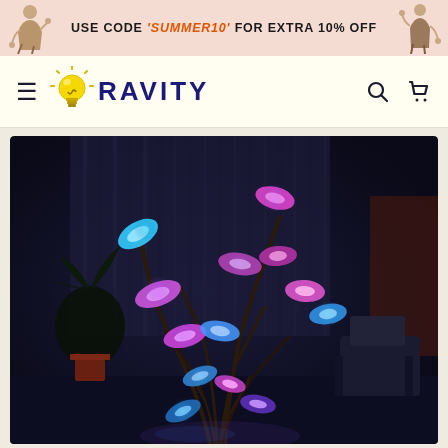USE CODE 'SUMMER10' FOR EXTRA 10% OFF
[Figure (logo): Ravity store logo with lightbulb icon and the text RAVITY in dark navy blue]
[Figure (photo): Dark room with a decorative floor lamp featuring glowing flower/lily pad shaped LED lights in pink, purple, and blue/cyan colors on curved stems, resembling a futuristic plant sculpture]